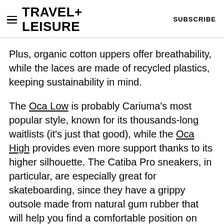TRAVEL+ LEISURE   SUBSCRIBE
Plus, organic cotton uppers offer breathability, while the laces are made of recycled plastics, keeping sustainability in mind.
The Oca Low is probably Cariuma's most popular style, known for its thousands-long waitlists (it's just that good), while the Oca High provides even more support thanks to its higher silhouette. The Catiba Pro sneakers, in particular, are especially great for skateboarding, since they have a grippy outsole made from natural gum rubber that will help you find a comfortable position on your board, as well as thick lips…